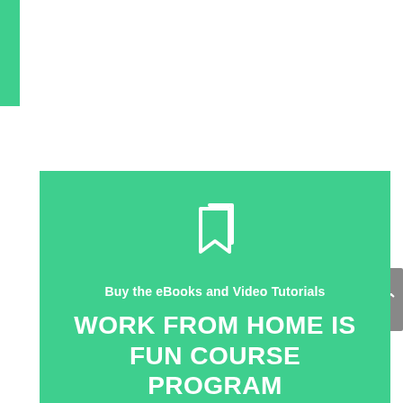[Figure (illustration): Green vertical accent bar on the top-left corner of the page]
[Figure (illustration): Gray scrollbar with upward arrow on the right side]
[Figure (illustration): White bookmark/tag icon on green background]
Buy the eBooks and Video Tutorials
WORK FROM HOME IS FUN COURSE PROGRAM
Discover How To Stay Productive Working From Home and Develop Your Mind For...